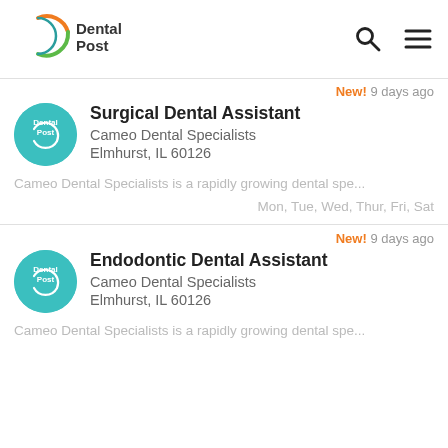DentalPost
New! 9 days ago
Surgical Dental Assistant
Cameo Dental Specialists
Elmhurst, IL 60126
Cameo Dental Specialists is a rapidly growing dental spe...
Mon, Tue, Wed, Thur, Fri, Sat
New! 9 days ago
Endodontic Dental Assistant
Cameo Dental Specialists
Elmhurst, IL 60126
Cameo Dental Specialists is a rapidly growing dental spe...